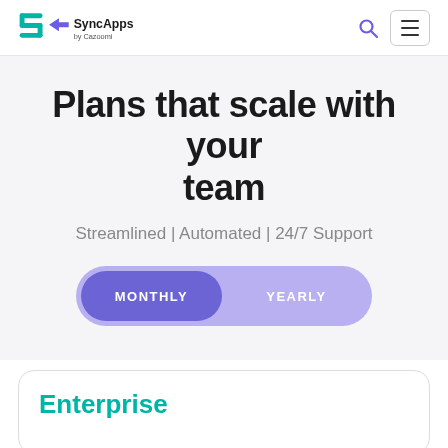SyncApps by Cazoomi
Plans that scale with your team
Streamlined | Automated | 24/7 Support
[Figure (infographic): Toggle switch with MONTHLY (active/selected, darker purple) and YEARLY (inactive, lighter purple) options inside a pill-shaped container]
Enterprise